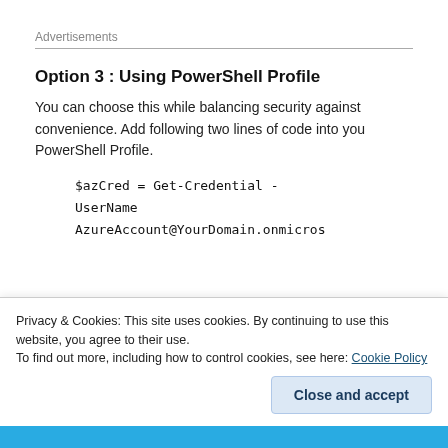Advertisements
Option 3 : Using PowerShell Profile
You can choose this while balancing security against convenience. Add following two lines of code into you PowerShell Profile.
$azCred = Get-Credential -UserName AzureAccount@YourDomain.onmicros
Privacy & Cookies: This site uses cookies. By continuing to use this website, you agree to their use.
To find out more, including how to control cookies, see here: Cookie Policy
Close and accept